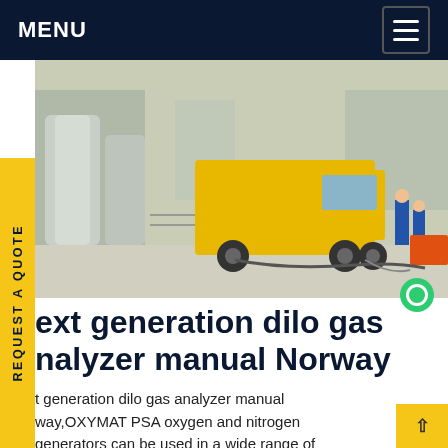MENU
[Figure (photo): Industrial gas equipment site with yellow truck and large cylindrical storage tanks; workers visible in background]
Next generation dilo gas analyzer manual Norway
Next generation dilo gas analyzer manual Norway, OXYMAT PSA oxygen and nitrogen generators can be used in a wide range of applications within many different sectors such as: aquaculture, ozone and water treatment, medical